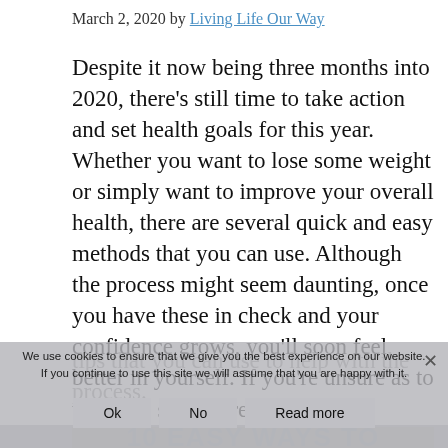March 2, 2020 by Living Life Our Way
Despite it now being three months into 2020, there’s still time to take action and set health goals for this year. Whether you want to lose some weight or simply want to improve your overall health, there are several quick and easy methods that you can use. Although the process might seem daunting, once you have these in check and your confidence grows, you’ll soon feel better in yourself. If you’re unsure as to where to start, here are 10 top tips that you can use to help with the process.
We use cookies to ensure that we give you the best experience on our website. If you continue to use this site we will assume that you are happy with it.
[Figure (other): Image showing '10 EASY WAYS TO' text in teal/blue color on a beige/tan background, partially visible at the bottom of the page.]